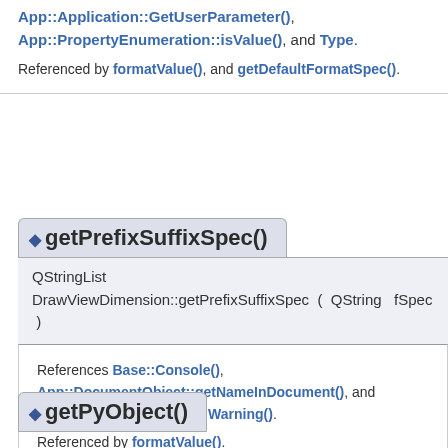App::Application::GetUserParameter(), App::PropertyEnumeration::isValue(), and Type.
Referenced by formatValue(), and getDefaultFormatSpec().
◆ getPrefixSuffixSpec()
QStringList DrawViewDimension::getPrefixSuffixSpec ( QString fSpec )
References Base::Console(), App::DocumentObject::getNameInDocument(), and Base::ConsoleSingleton::Warning().
Referenced by formatValue().
◆ getPyObject()